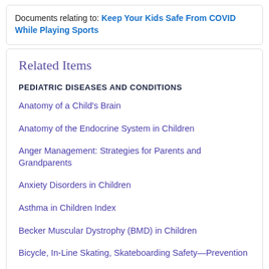Documents relating to: Keep Your Kids Safe From COVID While Playing Sports
Related Items
PEDIATRIC DISEASES AND CONDITIONS
Anatomy of a Child's Brain
Anatomy of the Endocrine System in Children
Anger Management: Strategies for Parents and Grandparents
Anxiety Disorders in Children
Asthma in Children Index
Becker Muscular Dystrophy (BMD) in Children
Bicycle, In-Line Skating, Skateboarding Safety—Prevention
Bone Marrow Transplant for Children
Brain Tumors in Children